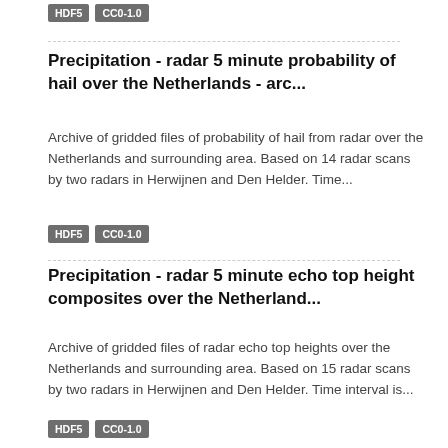HDF5  CC0-1.0
Precipitation - radar 5 minute probability of hail over the Netherlands - arc...
Archive of gridded files of probability of hail from radar over the Netherlands and surrounding area. Based on 14 radar scans by two radars in Herwijnen and Den Helder. Time...
HDF5  CC0-1.0
Precipitation - radar 5 minute echo top height composites over the Netherland...
Archive of gridded files of radar echo top heights over the Netherlands and surrounding area. Based on 15 radar scans by two radars in Herwijnen and Den Helder. Time interval is...
HDF5  CC0-1.0